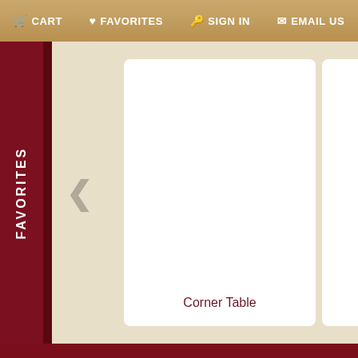CART   FAVORITES   SIGN IN   EMAIL US
[Figure (screenshot): Furniture website carousel showing Corner Table product card with left navigation arrow and partial second card]
Corner Table
Furniture By Room
Furniture By Style
Bedroom
Living Room
Dining Room
Entertainment
Home Office
Kids Bedroom
Contemporary
Traditional
Country
Leather
Coastal
Ornate